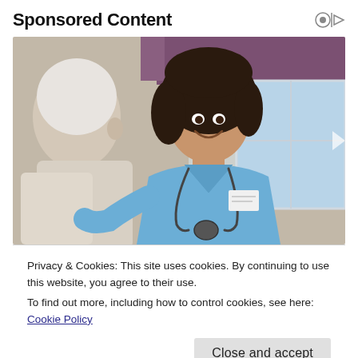Sponsored Content
[Figure (photo): A smiling nurse in blue scrubs with a stethoscope interacting with an elderly patient in a care home setting]
Privacy & Cookies: This site uses cookies. By continuing to use this website, you agree to their use.
To find out more, including how to control cookies, see here: Cookie Policy
Close and accept
[Figure (photo): Partial view of an outdoor scene with green landscape at the bottom of the page]